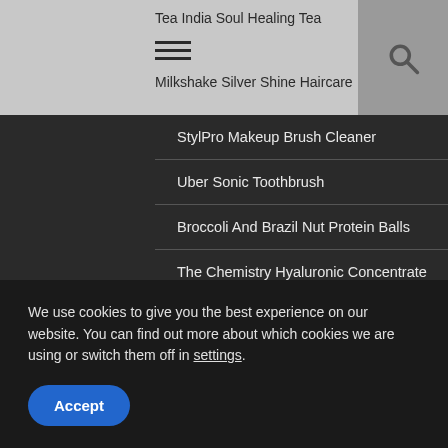Tea India Soul Healing Tea
Milkshake Silver Shine Haircare
StylPro Makeup Brush Cleaner
Uber Sonic Toothbrush
Broccoli And Brazil Nut Protein Balls
The Chemistry Hyaluronic Concentrate
TAGS
BEAUTY  UK BEAUTY BLOGGER  UK BEAUTY MAGAZINE  SKINCARE  FOOD  CRYSTAL AND VANILLA  LIFESTYLE  UK FOOD BLOGGER  RECIPES  UK FOOD MAGAZINE  BEAUTY BLOGGER  MAKEUP
We use cookies to give you the best experience on our website. You can find out more about which cookies we are using or switch them off in settings.